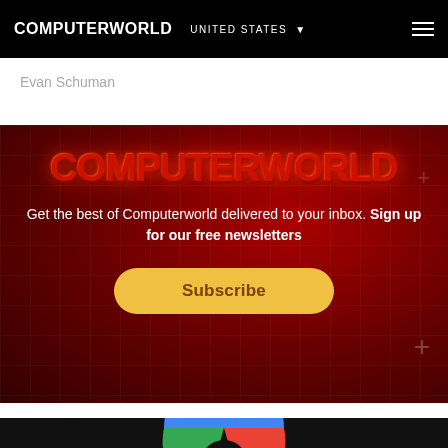COMPUTERWORLD  UNITED STATES
Evan Schuman
[Figure (infographic): Computerworld newsletter subscription promotional banner with dark red background, COMPUTERWORLD logo in red, text reading 'Get the best of Computerworld delivered to your inbox. Sign up for our free newsletters' and a yellow Subscribe button]
[Figure (photo): Partial view of Google Chrome logo at the bottom of the page against a black background]